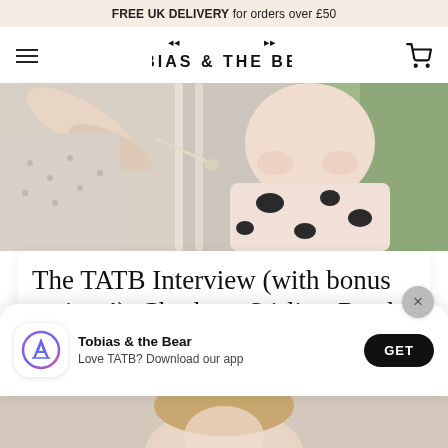FREE UK DELIVERY for orders over £50
[Figure (logo): Tobias & The Bear logo with hamburger menu and cart icon]
[Figure (photo): Baby being fed with a spoon by an adult hand, baby wearing a cow-print outfit, seated in a green high chair]
The TATB Interview (with bonus recipes!): Charlotte Stirling-Reed of SR Nutrition
[Figure (infographic): App download prompt showing Tobias & the Bear app icon, text 'Tobias & the Bear / Love TATB? Download our app' and a GET button]
[Figure (photo): Bottom portion of a photo of a woman, partially visible]